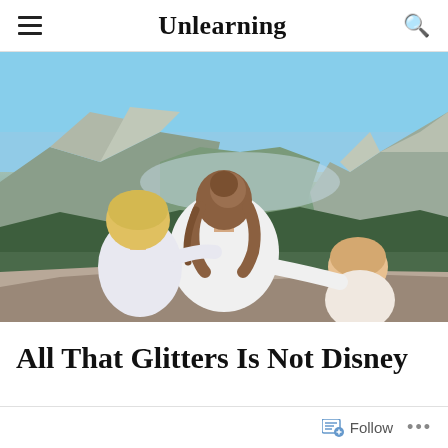Unlearning
[Figure (photo): A woman with hair in a bun seen from behind, with a young blonde child on her left and a baby on her right, all looking out at a scenic mountain valley landscape (Yosemite) with granite cliffs, evergreen trees, and blue sky.]
All That Glitters Is Not Disney
Follow